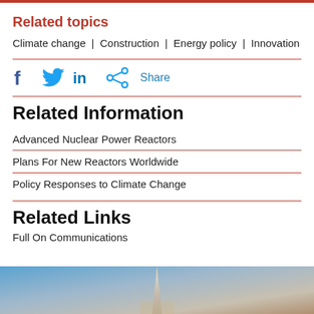Related topics
Climate change | Construction | Energy policy | Innovation
[Figure (infographic): Social media share icons: Facebook (f), Twitter (bird), LinkedIn (in), share icon, and Share text label]
Related Information
Advanced Nuclear Power Reactors
Plans For New Reactors Worldwide
Policy Responses to Climate Change
Related Links
Full On Communications
[Figure (photo): Partial photo at the bottom showing a tall spire or modern building structure against a sky background]